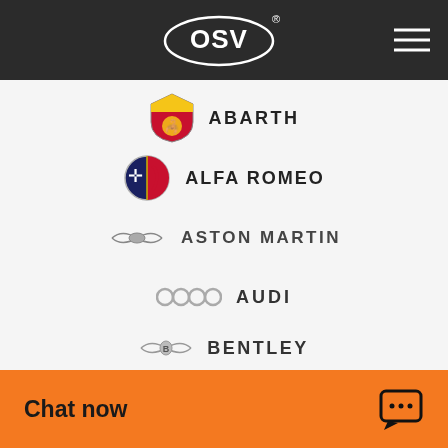[Figure (logo): OSV car leasing company logo in white on dark background header with hamburger menu icon]
ABARTH
ALFA ROMEO
ASTON MARTIN
AUDI
BENTLEY
Chat now